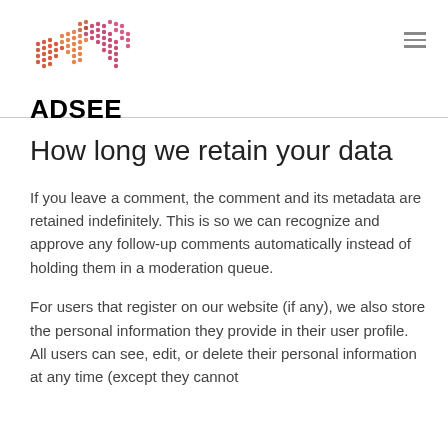[Figure (logo): ADSEE logo with stylized dotted map of Australia in orange-pink gradient colors above the bold text ADSEE]
How long we retain your data
If you leave a comment, the comment and its metadata are retained indefinitely. This is so we can recognize and approve any follow-up comments automatically instead of holding them in a moderation queue.
For users that register on our website (if any), we also store the personal information they provide in their user profile. All users can see, edit, or delete their personal information at any time (except they cannot